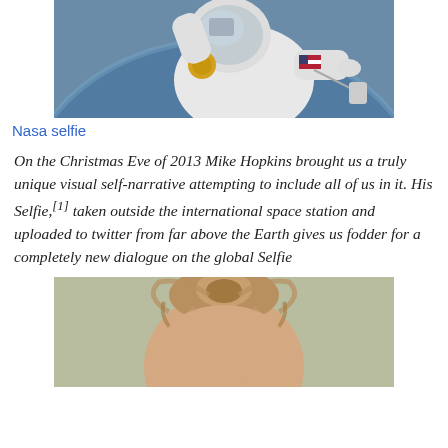[Figure (photo): Astronaut in a white spacesuit taking a selfie in space outside the international space station, with Earth visible in the background and a US flag patch on the arm.]
Nasa selfie
On the Christmas Eve of 2013 Mike Hopkins brought us a truly unique visual self-narrative attempting to include all of us in it. His Selfie,[1] taken outside the international space station and uploaded to twitter from far above the Earth gives us fodder for a completely new dialogue on the global Selfie
[Figure (photo): Close-up selfie photo of a person with light brown hair tied up in a bun, taken from above.]